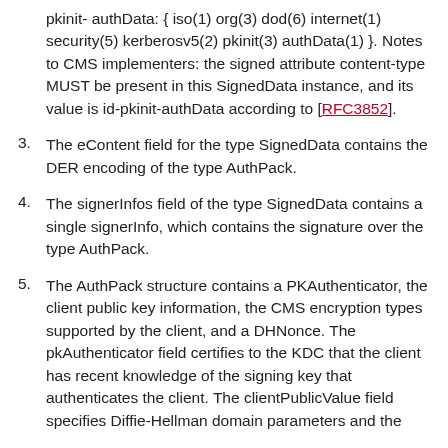pkinit- authData: { iso(1) org(3) dod(6) internet(1) security(5) kerberosv5(2) pkinit(3) authData(1) }. Notes to CMS implementers: the signed attribute content-type MUST be present in this SignedData instance, and its value is id-pkinit-authData according to [RFC3852].
3. The eContent field for the type SignedData contains the DER encoding of the type AuthPack.
4. The signerInfos field of the type SignedData contains a single signerInfo, which contains the signature over the type AuthPack.
5. The AuthPack structure contains a PKAuthenticator, the client public key information, the CMS encryption types supported by the client, and a DHNonce. The pkAuthenticator field certifies to the KDC that the client has recent knowledge of the signing key that authenticates the client. The clientPublicValue field specifies Diffie-Hellman domain parameters and the